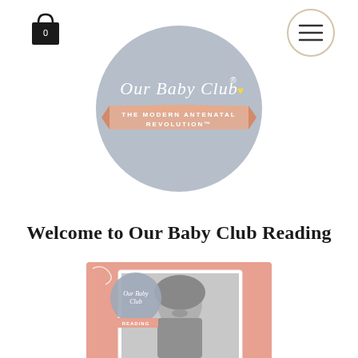[Figure (logo): Shopping bag icon with number 0, black silhouette]
[Figure (logo): Circular hamburger menu button with three lines, beige/cream border circle]
[Figure (logo): Our Baby Club logo: grey circle with script text 'Our Baby Club' and registered trademark symbol, yellow heart, peach ribbon banner reading 'THE MODERN ANTENATAL REVOLUTION']
Welcome to Our Baby Club Reading
[Figure (photo): Our Baby Club Reading promotional image: pink/peach background card with grey circle logo badge saying 'READING', black and white photo of smiling woman with long hair]